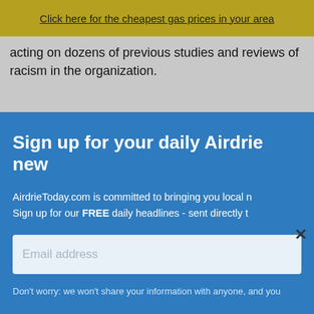Click here for the cheapest gas prices in your area
acting on dozens of previous studies and reviews of racism in the organization.
Sign up for your daily Airdrie new
AirdrieToday.com is committed to bringing you local news. Sign up for our FREE daily headlines - sent directly to
Email address
Don't worry: we won't share your information with anyone, and you
[Figure (screenshot): ActiveAging advertisement banner with Airdrie Denture Centre branding and GET ACTIVE button]